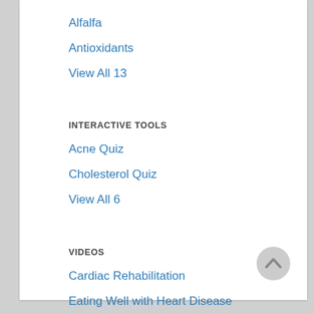Alfalfa
Antioxidants
View All 13
INTERACTIVE TOOLS
Acne Quiz
Cholesterol Quiz
View All 6
VIDEOS
Cardiac Rehabilitation
Eating Well with Heart Disease
View All 4